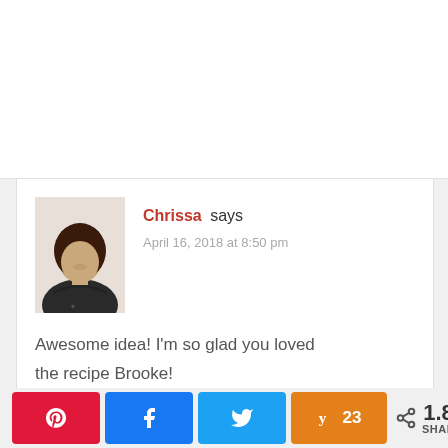Chrissa says
April 16, 2018 at 8:50 pm
[Figure (photo): Profile photo of Chrissa — woman with long dark hair wearing a dark t-shirt, smiling]
Awesome idea! I’m so glad you loved the recipe Brooke!
< 1.8K SHARES